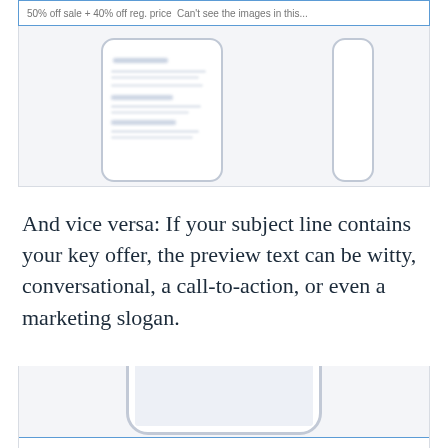[Figure (screenshot): Email client screenshot showing subject line with '50% off sale + 40% off reg. price Can't see the images in this...' preview text, displayed in a mobile phone mockup]
And vice versa: If your subject line contains your key offer, the preview text can be witty, conversational, a call-to-action, or even a marketing slogan.
[Figure (screenshot): Mobile phone mockup showing email inbox screen, bottom portion with notification bar]